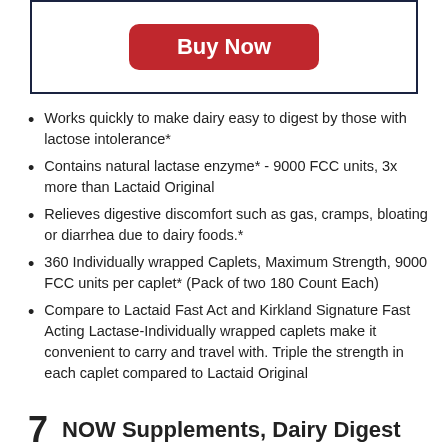[Figure (other): Buy Now button in a bordered box]
Works quickly to make dairy easy to digest by those with lactose intolerance*
Contains natural lactase enzyme* - 9000 FCC units, 3x more than Lactaid Original
Relieves digestive discomfort such as gas, cramps, bloating or diarrhea due to dairy foods.*
360 Individually wrapped Caplets, Maximum Strength, 9000 FCC units per caplet* (Pack of two 180 Count Each)
Compare to Lactaid Fast Act and Kirkland Signature Fast Acting Lactase-Individually wrapped caplets make it convenient to carry and travel with. Triple the strength in each caplet compared to Lactaid Original
7   NOW Supplements, Dairy Digest